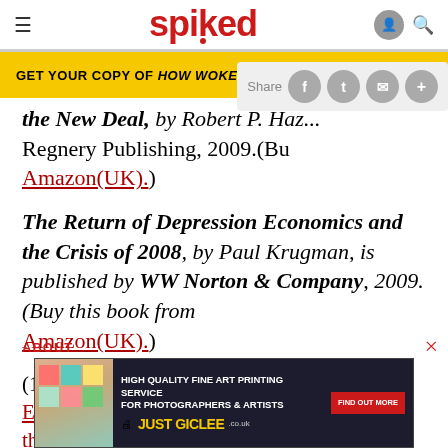spiked
GET YOUR COPY OF HOW WOKE WON
the New Deal, by Robert... Regnery Publishing, 2009.(Buy from Amazon(UK).)
The Return of Depression Economics and the Crisis of 2008, by Paul Krugman, is published by WW Norton & Company, 2009.(Buy this book from Amazon(UK).)
(1) Lessons from the Great Depression for Economic Recovery in 2009: Presentation to the Brookings...
ABOUT